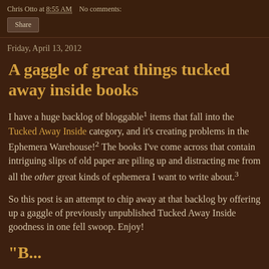Chris Otto at 8:55 AM   No comments:
Share
Friday, April 13, 2012
A gaggle of great things tucked away inside books
I have a huge backlog of bloggable1 items that fall into the Tucked Away Inside category, and it's creating problems in the Ephemera Warehouse!2 The books I've come across that contain intriguing slips of old paper are piling up and distracting me from all the other great kinds of ephemera I want to write about.3
So this post is an attempt to chip away at that backlog by offering up a gaggle of previously unpublished Tucked Away Inside goodness in one fell swoop. Enjoy!
"B...